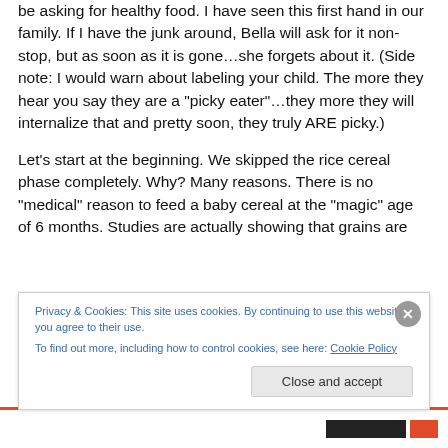be asking for healthy food. I have seen this first hand in our family. If I have the junk around, Bella will ask for it non-stop, but as soon as it is gone…she forgets about it. (Side note: I would warn about labeling your child. The more they hear you say they are a "picky eater"…they more they will internalize that and pretty soon, they truly ARE picky.)
Let's start at the beginning. We skipped the rice cereal phase completely. Why? Many reasons. There is no "medical" reason to feed a baby cereal at the "magic" age of 6 months. Studies are actually showing that grains are
Privacy & Cookies: This site uses cookies. By continuing to use this website, you agree to their use.
To find out more, including how to control cookies, see here: Cookie Policy